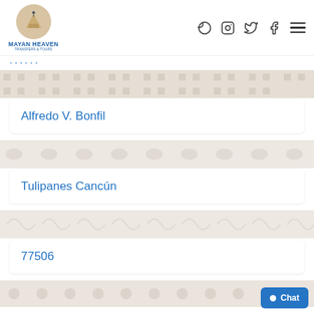[Figure (logo): Mayan Heaven Transfers & Tours logo with pyramid icon in circular frame]
Alfredo V. Bonfil
Tulipanes Cancún
77506